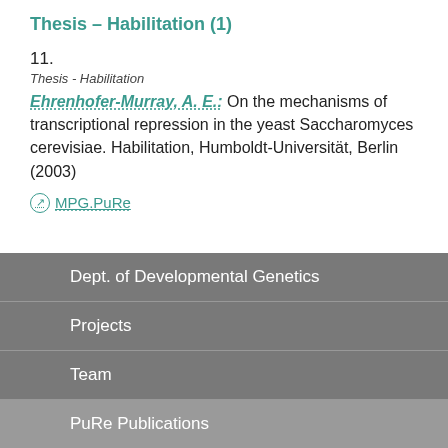Thesis – Habilitation (1)
11.
Thesis - Habilitation
Ehrenhofer-Murray, A. E.: On the mechanisms of transcriptional repression in the yeast Saccharomyces cerevisiae. Habilitation, Humboldt-Universität, Berlin (2003)
MPG.PuRe
Dept. of Developmental Genetics
Projects
Team
PuRe Publications